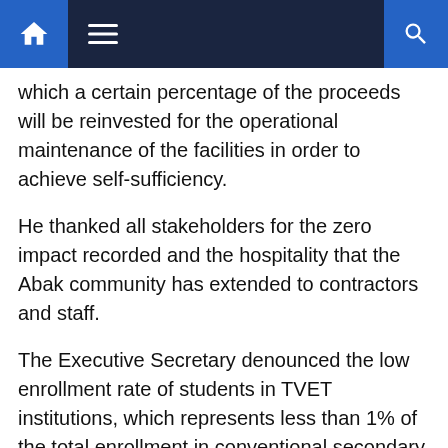Navigation bar with home, menu, and search icons
which a certain percentage of the proceeds will be reinvested for the operational maintenance of the facilities in order to achieve self-sufficiency.
He thanked all stakeholders for the zero impact recorded and the hospitality that the Abak community has extended to contractors and staff.
The Executive Secretary denounced the low enrollment rate of students in TVET institutions, which represents less than 1% of the total enrollment in conventional secondary schools.
Noting that young people make up more than 50% of the country's population, he regretted that the country has yet to fully exploit its potential for economic growth, as many young people face challenges ranging from lack of practical skills, unemployment and illiteracy, among others.